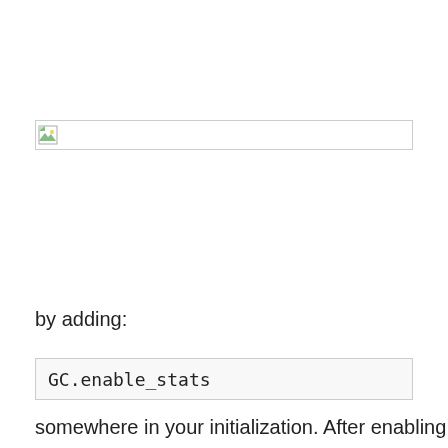[Figure (screenshot): Broken image placeholder with a small image icon in the top-left corner and a border]
by adding:
GC.enable_stats
somewhere in your initialization.  After enabling